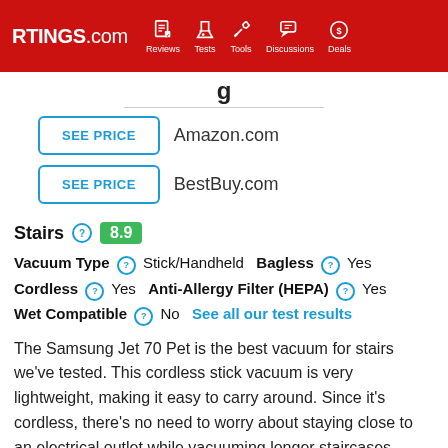RTINGS.com | Reviews | Tests | Tools | Discussions | Deals
SEE PRICE  Amazon.com
SEE PRICE  BestBuy.com
Stairs 8.9
Vacuum Type: Stick/Handheld  Bagless: Yes  Cordless: Yes  Anti-Allergy Filter (HEPA): Yes  Wet Compatible: No  See all our test results
The Samsung Jet 70 Pet is the best vacuum for stairs we've tested. This cordless stick vacuum is very lightweight, making it easy to carry around. Since it's cordless, there's no need to worry about staying close to an electrical outlet while vacuuming longer staircases